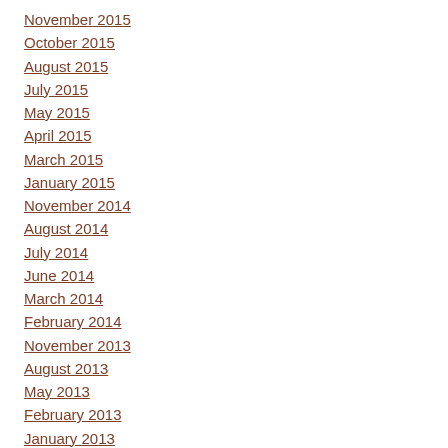November 2015
October 2015
August 2015
July 2015
May 2015
April 2015
March 2015
January 2015
November 2014
August 2014
July 2014
June 2014
March 2014
February 2014
November 2013
August 2013
May 2013
February 2013
January 2013